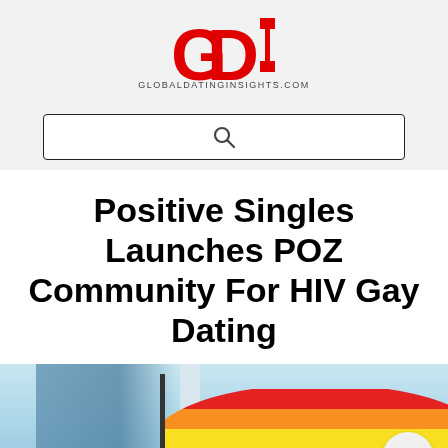[Figure (logo): GDI logo in red with bold block letters G, D, I]
GLOBALDATINGINSIGHTS.COM
[Figure (other): Search bar with magnifying glass icon]
Positive Singles Launches POZ Community For HIV Gay Dating
[Figure (photo): Photo of a rainbow pride flag being waved outdoors, with blue sky and building in background. A hamburger menu button (three horizontal lines in a circle) is overlaid at bottom right.]